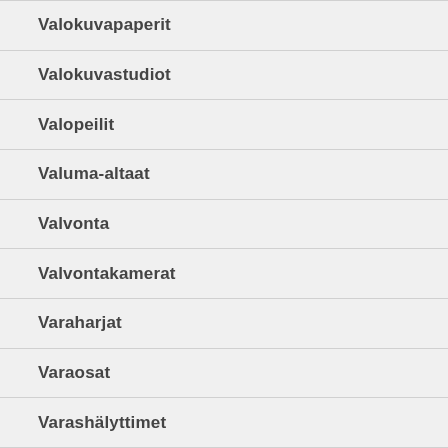Valokuvapaperit
Valokuvastudiot
Valopeilit
Valuma-altaat
Valvonta
Valvontakamerat
Varaharjat
Varaosat
Varashälyttimet